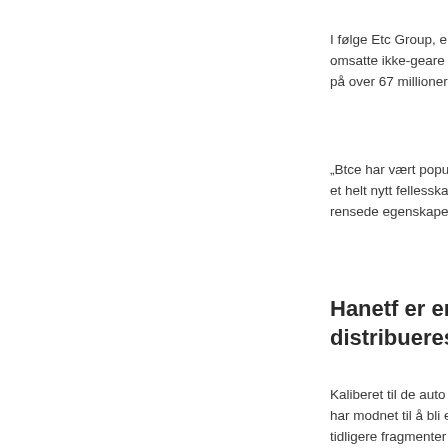I følge Etc Group, e omsatte ikke-geare på over 67 millioner
„Btce har vært popu et helt nytt fellsska rensede egenskape
Hanetf er en EU distribueres og
Kaliberet til de auto har modnet til å bli e tidligere fragmenter en ny aktivaklasse s gjelder kjøp av anne